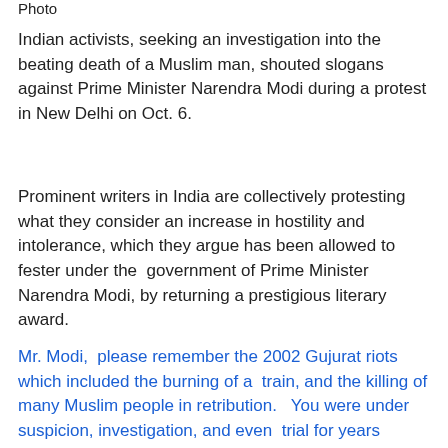Photo
Indian activists, seeking an investigation into the beating death of a Muslim man, shouted slogans against Prime Minister Narendra Modi during a protest in New Delhi on Oct. 6.
Prominent writers in India are collectively protesting what they consider an increase in hostility and intolerance, which they argue has been allowed to fester under the government of Prime Minister Narendra Modi, by returning a prestigious literary award.
Mr. Modi,  please remember the 2002 Gujurat riots which included the burning of a  train, and the killing of many Muslim people in retribution.   You were under suspicion, investigation, and even  trial for years because at the very least you failed to do all you  could to protect the Muslims.